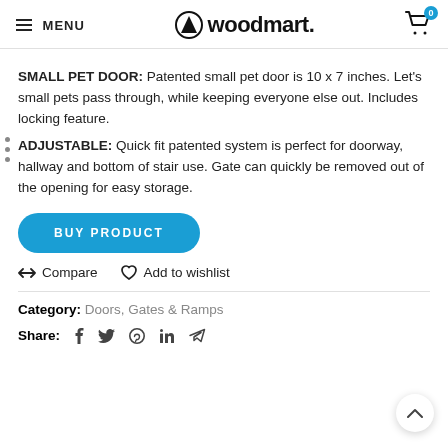MENU | woodmart. | Cart 0
SMALL PET DOOR: Patented small pet door is 10 x 7 inches. Let’s small pets pass through, while keeping everyone else out. Includes locking feature.
ADJUSTABLE: Quick fit patented system is perfect for doorway, hallway and bottom of stair use. Gate can quickly be removed out of the opening for easy storage.
BUY PRODUCT
Compare   Add to wishlist
Category: Doors, Gates & Ramps
Share: (social icons)